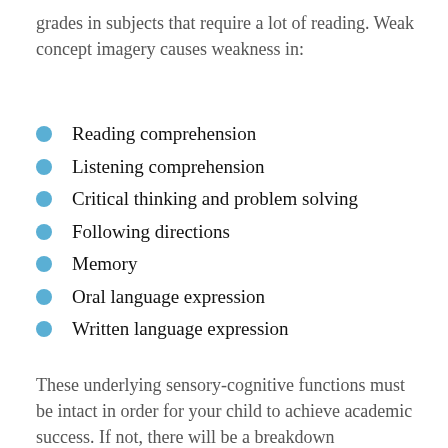grades in subjects that require a lot of reading. Weak concept imagery causes weakness in:
Reading comprehension
Listening comprehension
Critical thinking and problem solving
Following directions
Memory
Oral language expression
Written language expression
These underlying sensory-cognitive functions must be intact in order for your child to achieve academic success. If not, there will be a breakdown